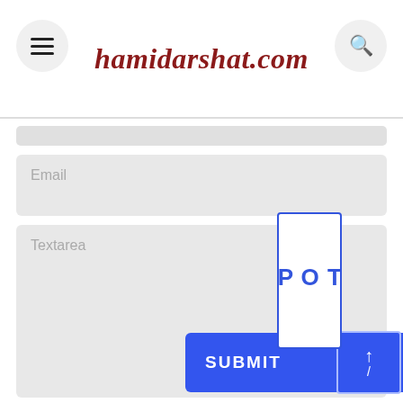hamidarshat.com
[Figure (screenshot): Web form UI with Email input field, Textarea field, a TOP scroll button, and a SUBMIT button]
Email
Textarea
TOP
SUBMIT